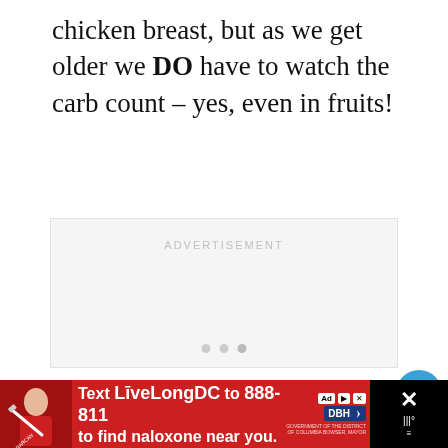chicken breast, but as we get older we DO have to watch the carb count – yes, even in fruits!
[Figure (other): Advertisement placeholder box with 'ADVERTISEMENT' label and three loading dots]
[Figure (other): Like button (blue circle with heart icon) with count 3.3K, and share button]
[Figure (other): Bottom banner advertisement: Text LiveLongDC to 888-811 to find naloxone near you. Red background with DBH logo.]